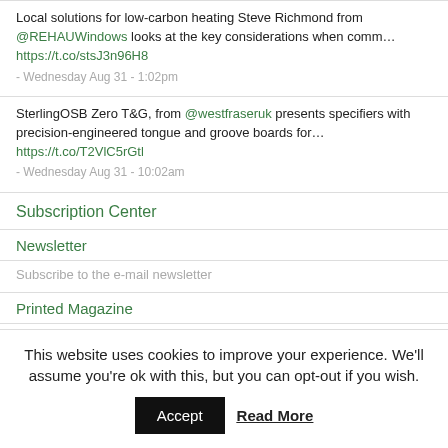Local solutions for low-carbon heating Steve Richmond from @REHAUWindows looks at the key considerations when comm… https://t.co/stsJ3n96H8
- Wednesday Aug 31 - 1:02pm
SterlingOSB Zero T&G, from @westfraseruk presents specifiers with precision-engineered tongue and groove boards for… https://t.co/T2VlC5rGtl
- Wednesday Aug 31 - 10:02am
Subscription Center
Newsletter
Subscribe to the e-mail newsletter
Printed Magazine
Receive the printed magazine
This website uses cookies to improve your experience. We'll assume you're ok with this, but you can opt-out if you wish.